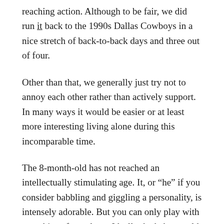reaching action. Although to be fair, we did run it back to the 1990s Dallas Cowboys in a nice stretch of back-to-back days and three out of four.
Other than that, we generally just try not to annoy each other rather than actively support. In many ways it would be easier or at least more interesting living alone during this incomparable time.
The 8-month-old has not reached an intellectually stimulating age. It, or “he” if you consider babbling and giggling a personality, is intensely adorable. But you can only play with cute things for so long. Ideally the baby would serve as a 10-minute break every 1.5 hours.